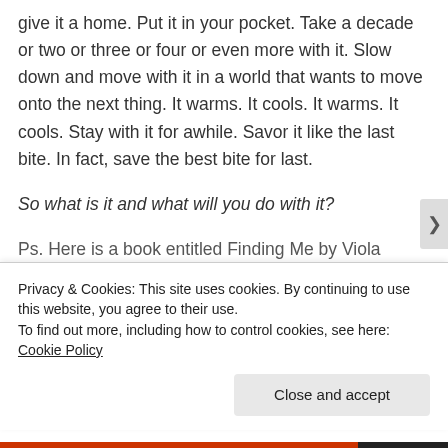give it a home. Put it in your pocket. Take a decade or two or three or four or even more with it. Slow down and move with it in a world that wants to move onto the next thing. It warms. It cools. It warms. It cools. Stay with it for awhile. Savor it like the last bite. In fact, save the best bite for last.
So what is it and what will you do with it?
Ps. Here is a book entitled Finding Me by Viola
Privacy & Cookies: This site uses cookies. By continuing to use this website, you agree to their use.
To find out more, including how to control cookies, see here: Cookie Policy
Close and accept